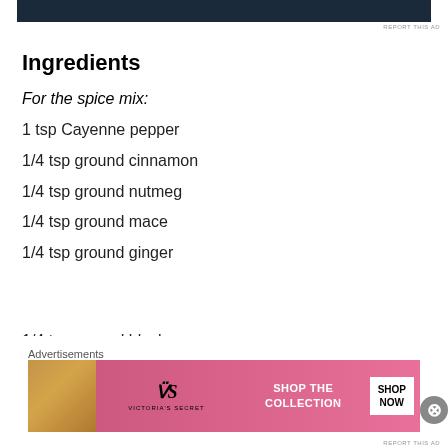[Figure (other): Top advertisement banner, dark blue/navy background with partial image cut off]
Ingredients
For the spice mix:
1 tsp Cayenne pepper
1/4 tsp ground cinnamon
1/4 tsp ground nutmeg
1/4 tsp ground mace
1/4 tsp ground ginger
1/4 tsp ground black pepper
[Figure (other): Victoria's Secret advertisement banner with model, VS logo, SHOP THE COLLECTION text, and SHOP NOW button]